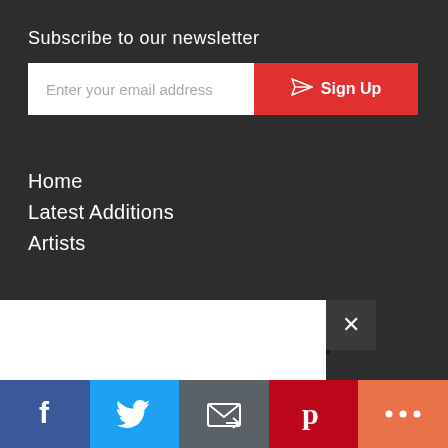Subscribe to our newsletter
[Figure (screenshot): Email subscription form with text input 'Enter your email address' and a red 'Sign Up' button with paper plane icon]
Home
Latest Additions
Artists
Free Membership
Art Enthusiasts | Art Galleries and Dealers
Join the Global Art Traders family
[Figure (infographic): Social sharing bar with Facebook (blue), Twitter (light blue), Email (grey), Pinterest (red), and More (orange) buttons]